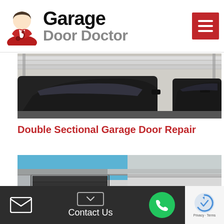[Figure (logo): Garage Door Doctor logo with red doctor icon and black/gray text]
[Figure (photo): Close-up photo of cars inside a garage with sectional door visible overhead]
Double Sectional Garage Door Repair
[Figure (photo): Exterior photo of a building with a closed sectional garage door, blue sky visible]
Contact Us